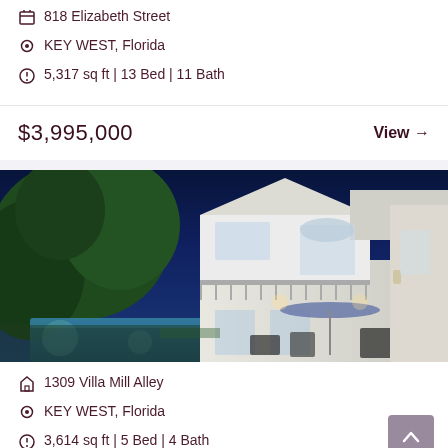818 Elizabeth Street
KEY WEST, Florida
5,317 sq ft | 13 Bed | 11 Bath
$3,995,000  View →
[Figure (photo): Night-time exterior photo of a two-story white Key West style home with a pool, palm trees, and patio furniture illuminated by warm lights against a twilight blue sky]
1309 Villa Mill Alley
KEY WEST, Florida
3,614 sq ft | 5 Bed | 4 Bath